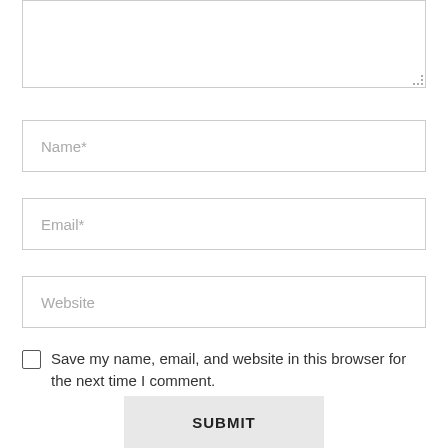[Figure (screenshot): A comment form textarea (top portion visible, mostly empty) with a resize handle at bottom-right.]
Name*
Email*
Website
Save my name, email, and website in this browser for the next time I comment.
SUBMIT